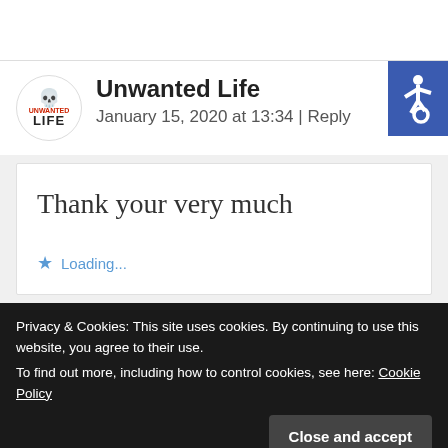[Figure (screenshot): Top portion of a white card section, partially visible, cut off at top of page]
Unwanted Life
January 15, 2020 at 13:34 | Reply
[Figure (logo): Accessibility icon - white wheelchair symbol on blue background]
Thank your very much
Loading...
Privacy & Cookies: This site uses cookies. By continuing to use this website, you agree to their use.
To find out more, including how to control cookies, see here: Cookie Policy
Close and accept
[Figure (logo): Tip Me button with Ko-fi cup icon]
5, 2020 at 14:00 | Reply